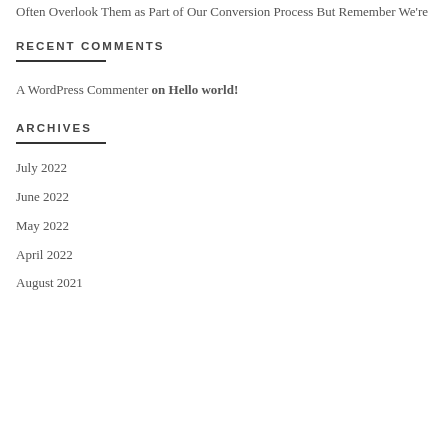Often Overlook Them as Part of Our Conversion Process But Remember We're
RECENT COMMENTS
A WordPress Commenter on Hello world!
ARCHIVES
July 2022
June 2022
May 2022
April 2022
August 2021